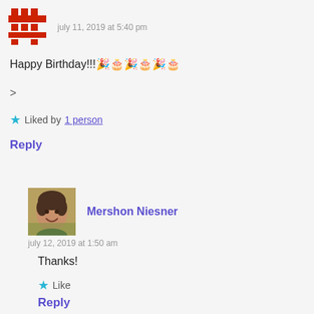[Figure (illustration): Red pixelated avatar icon (hashtag/grid pattern)]
july 11, 2019 at 5:40 pm
Happy Birthday!!!🎉🎂🎉🎂🎉🎂
>
★ Liked by 1 person
Reply
[Figure (photo): Photo of Mershon Niesner, a woman with short dark hair smiling, outdoors with yellow/green background]
Mershon Niesner
july 12, 2019 at 1:50 am
Thanks!
★ Like
Reply